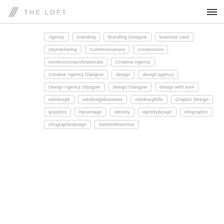THE LOFT
Agency
branding
branding Glasgow
business card
citymarketing
Communications
construction
constructionprofessionals
Creative Agency
Creative Agency Glasgow
design
design agency
Design Agency Glasgow
design Glasgow
design with soul
edinburgh
edinburghbusiness
edinburghlife
Graphic Design
graphics
heroimage
identity
identitydesign
infographic
infographicdesign
locksmithservice